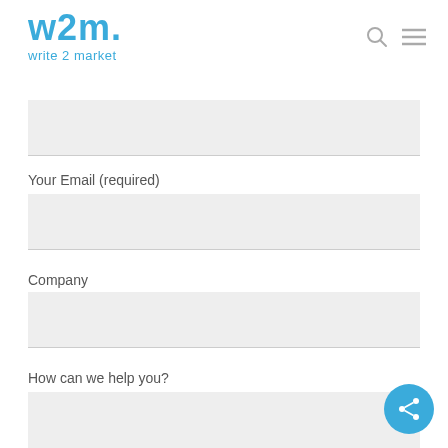w2m. write 2 market
Your Email (required)
Company
How can we help you?